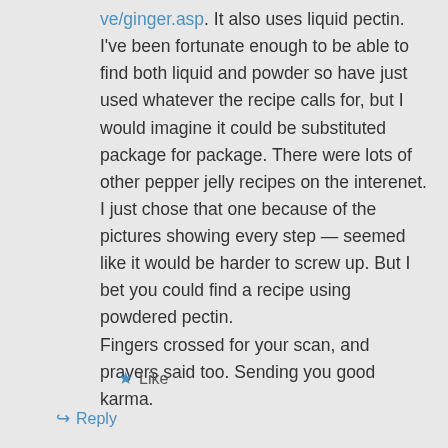ve/ginger.asp. It also uses liquid pectin. I've been fortunate enough to be able to find both liquid and powder so have just used whatever the recipe calls for, but I would imagine it could be substituted package for package. There were lots of other pepper jelly recipes on the interenet. I just chose that one because of the pictures showing every step — seemed like it would be harder to screw up. But I bet you could find a recipe using powdered pectin. Fingers crossed for your scan, and prayers said too. Sending you good karma.
★ Like
↳ Reply